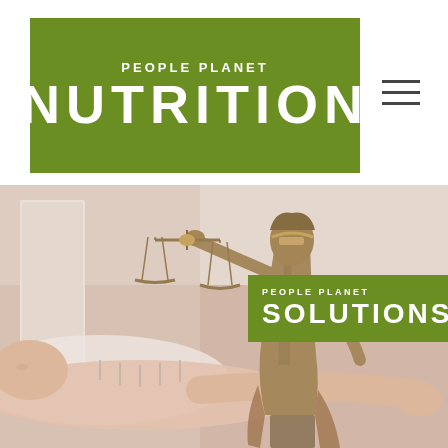[Figure (logo): People Planet Nutrition logo: green rectangle background with white bold uppercase text 'PEOPLE PLANET' in small caps above large bold uppercase 'NUTRITION']
[Figure (illustration): Hamburger menu icon: three horizontal dark lines]
[Figure (photo): Composite image: background shows a woman lying down receiving treatment, overlaid with a bronze Lady Justice statue holding scales in the foreground. A green 'PEOPLE PLANET SOLUTIONS' overlay box is in the upper right of the image.]